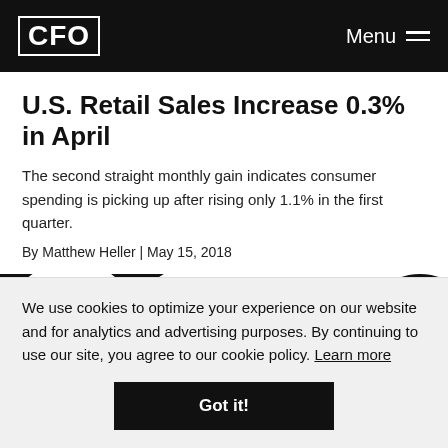CFO | Menu
U.S. Retail Sales Increase 0.3% in April
The second straight monthly gain indicates consumer spending is picking up after rising only 1.1% in the first quarter.
By Matthew Heller | May 15, 2018
[Figure (logo): Large CFO logo letters partially visible, cropped]
We use cookies to optimize your experience on our website and for analytics and advertising purposes. By continuing to use our site, you agree to our cookie policy. Learn more
Got it!